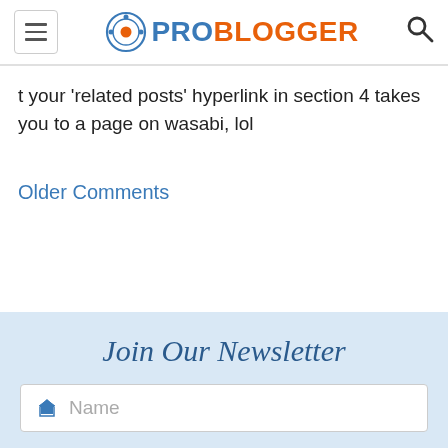ProBlogger
t your ‘related posts’ hyperlink in section 4 takes you to a page on wasabi, lol
Older Comments
Join Our Newsletter
Name